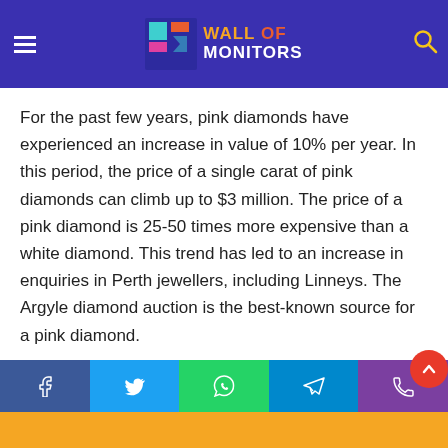Wall of Monitors — site header with hamburger menu, logo, and search icon
more than you'd expect, so you should definitely wait until the …parts because the market for them has increased more than 180% over the last seven years.
For the past few years, pink diamonds have experienced an increase in value of 10% per year. In this period, the price of a single carat of pink diamonds can climb up to $3 million. The price of a pink diamond is 25-50 times more expensive than a white diamond. This trend has led to an increase in enquiries in Perth jewellers, including Linneys. The Argyle diamond auction is the best-known source for a pink diamond.
There are many reasons to invest in pink diamonds. While they're not an ideal investment, they're easy to store and wear. Despite their high price, pink diamonds have seen a huge increase in value in the past few years. That means th
Share buttons: Facebook, Twitter, WhatsApp, Telegram, Phone